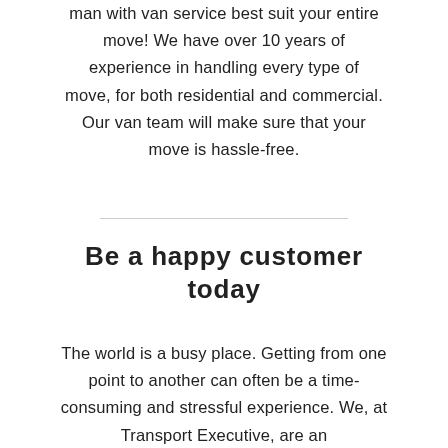man with van service best suit your entire move! We have over 10 years of experience in handling every type of move, for both residential and commercial. Our van team will make sure that your move is hassle-free.
Be a happy customer today
The world is a busy place. Getting from one point to another can often be a time-consuming and stressful experience. We, at Transport Executive, are an